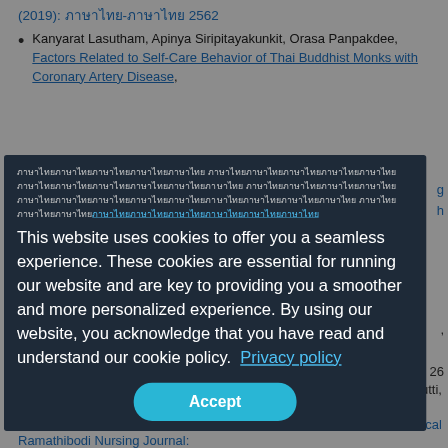(2019): ภาษาไทย-ภาษาไทย 2562
Kanyarat Lasutham, Apinya Siripitayakunkit, Orasa Panpakdee, Factors Related to Self-Care Behavior of Thai Buddhist Monks with Coronary Artery Disease,
[Thai text block with cookie policy notice in Thai and link]
This website uses cookies to offer you a seamless experience. These cookies are essential for running our website and are key to providing you a smoother and more personalized experience. By using our website, you acknowledge that you have read and understand our cookie policy.  Privacy policy
Accept